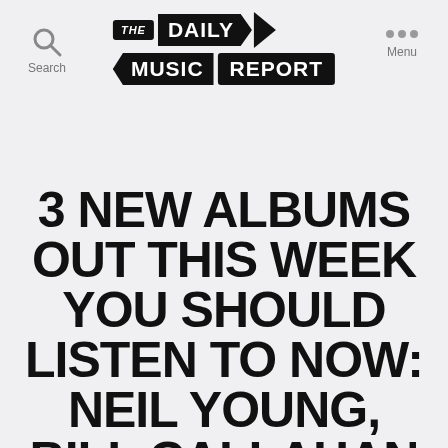The Daily Music Report
3 NEW ALBUMS OUT THIS WEEK YOU SHOULD LISTEN TO NOW: NEIL YOUNG, BILL CALLAHAN & BONNIE 'PRINCE' BILLY, AND TIERRA